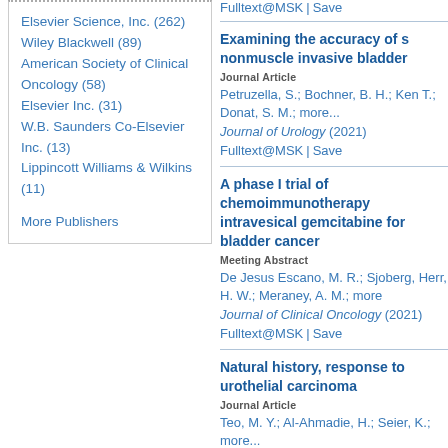Elsevier Science, Inc. (262)
Wiley Blackwell (89)
American Society of Clinical Oncology (58)
Elsevier Inc. (31)
W.B. Saunders Co-Elsevier Inc. (13)
Lippincott Williams & Wilkins (11)
More Publishers
Fulltext@MSK | Save
Examining the accuracy of s nonmuscle invasive bladder
Journal Article
Petruzella, S.; Bochner, B. H.; Ken T.; Donat, S. M.; more...
Journal of Urology (2021)
Fulltext@MSK | Save
A phase I trial of chemoimmunotherapy intravesical gemcitabine for bladder cancer
Meeting Abstract
De Jesus Escano, M. R.; Sjoberg, Herr, H. W.; Meraney, A. M.; more
Journal of Clinical Oncology (2021)
Fulltext@MSK | Save
Natural history, response to urothelial carcinoma
Journal Article
Teo, M. Y.; Al-Ahmadie, H.; Seier, K.; more...
British Journal of Cancer (2021)